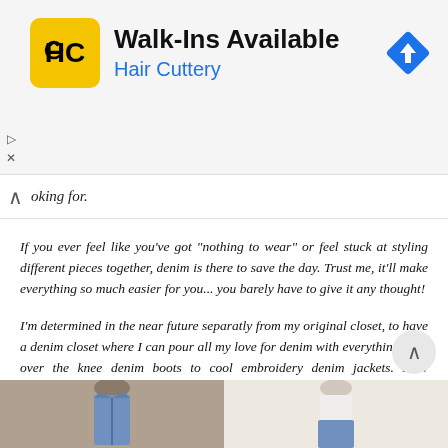[Figure (screenshot): Hair Cuttery advertisement banner with logo, 'Walk-Ins Available' headline, blue 'Hair Cuttery' text, and navigation/direction icon]
oking for.
If you ever feel like you've got "nothing to wear" or feel stuck at styling different pieces together, denim is there to save the day. Trust me, it'll make everything so much easier for you... you barely have to give it any thought!
I'm determined in the near future separatly from my original closet, to have a denim closet where I can pour all my love for denim with everything from over the knee denim boots to cool embroidery denim jackets. How awesome would that be?
Shop My Selection:
[Figure (photo): Two fashion product photos showing denim clothing items at the bottom of the page]